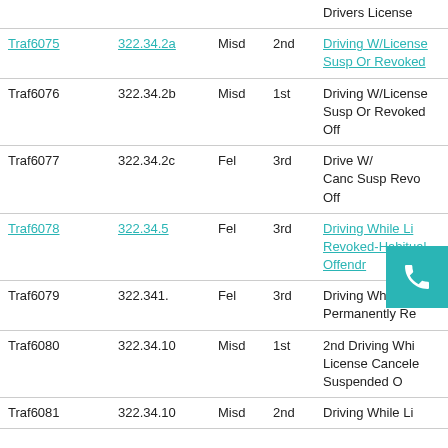| Code | Statute | Class | Degree | Description |
| --- | --- | --- | --- | --- |
|  |  |  |  | Drivers License |
| Traf6075 | 322.34.2a | Misd | 2nd | Driving W/License Susp Or Revoked |
| Traf6076 | 322.34.2b | Misd | 1st | Driving W/License Susp Or Revoked Off |
| Traf6077 | 322.34.2c | Fel | 3rd | Drive W/ Canc Susp Revo Off |
| Traf6078 | 322.34.5 | Fel | 3rd | Driving While License Revoked-Habitual Offendr |
| Traf6079 | 322.341. | Fel | 3rd | Driving While License Permanently Re |
| Traf6080 | 322.34.10 | Misd | 1st | 2nd Driving While License Canceled Suspended O |
| Traf6081 | 322.34.10 | Misd | 2nd | Driving While Li |